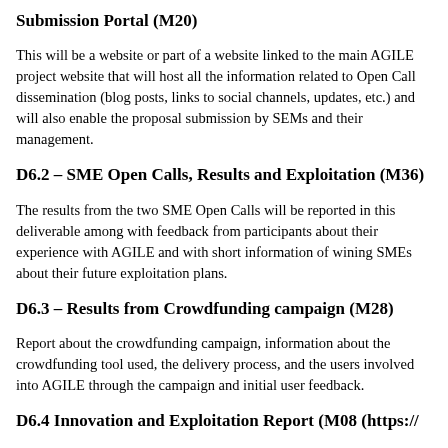Submission Portal (M20)
This will be a website or part of a website linked to the main AGILE project website that will host all the information related to Open Call dissemination (blog posts, links to social channels, updates, etc.) and will also enable the proposal submission by SEMs and their management.
D6.2 – SME Open Calls, Results and Exploitation (M36)
The results from the two SME Open Calls will be reported in this deliverable among with feedback from participants about their experience with AGILE and with short information of wining SMEs about their future exploitation plans.
D6.3 – Results from Crowdfunding campaign (M28)
Report about the crowdfunding campaign, information about the crowdfunding tool used, the delivery process, and the users involved into AGILE through the campaign and initial user feedback.
D6.4 Innovation and Exploitation Report (M08 (https://